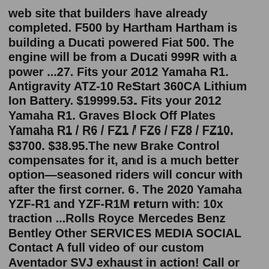web site that builders have already completed. F500 by Hartham Hartham is building a Ducati powered Fiat 500. The engine will be from a Ducati 999R with a power ...27. Fits your 2012 Yamaha R1. Antigravity ATZ-10 ReStart 360CA Lithium Ion Battery. $19999.53. Fits your 2012 Yamaha R1. Graves Block Off Plates Yamaha R1 / R6 / FZ1 / FZ6 / FZ8 / FZ10. $3700. $38.95.The new Brake Control compensates for it, and is a much better option—seasoned riders will concur with after the first corner. 6. The 2020 Yamaha YZF-R1 and YZF-R1M return with: 10x traction ...Rolls Royce Mercedes Benz Bentley Other SERVICES MEDIA SOCIAL Contact A full video of our custom Aventador SVJ exhaust in action! Call or email us for all sales inquires [818]-993-9004 info@R1Motorsport.com Next Generation PERFECTION Project Highlight Apr 27, 2021 Apr 27, 2021 Apr 27, 2021 Apr 27, 2021 Apr 27, 2021 Apr 27, 2021 Apr 27, 2021YZF-R1. Equipped with an aggressive new M1-derived cowl, the more